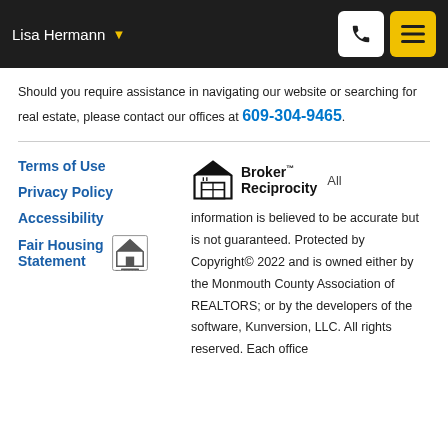Lisa Hermann
Should you require assistance in navigating our website or searching for real estate, please contact our offices at 609-304-9465.
Terms of Use
Privacy Policy
Accessibility
Fair Housing Statement
All information is believed to be accurate but is not guaranteed. Protected by Copyright© 2022 and is owned either by the Monmouth County Association of REALTORS; or by the developers of the software, Kunversion, LLC. All rights reserved. Each office